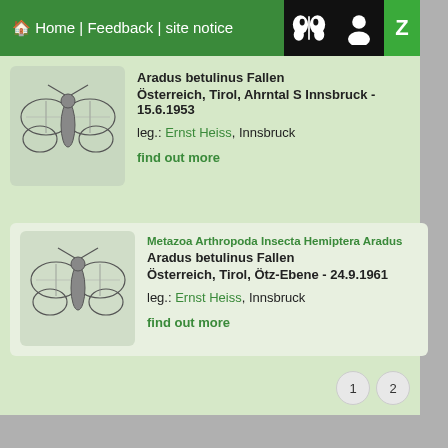Home | Feedback | site notice
Aradus betulinus Fallen
Österreich, Tirol, Ahrntal S Innsbruck - 15.6.1953
leg.: Ernst Heiss, Innsbruck
find out more
Metazoa Arthropoda Insecta Hemiptera Aradus
Aradus betulinus Fallen
Österreich, Tirol, Ötz-Ebene - 24.9.1961
leg.: Ernst Heiss, Innsbruck
find out more
1  2